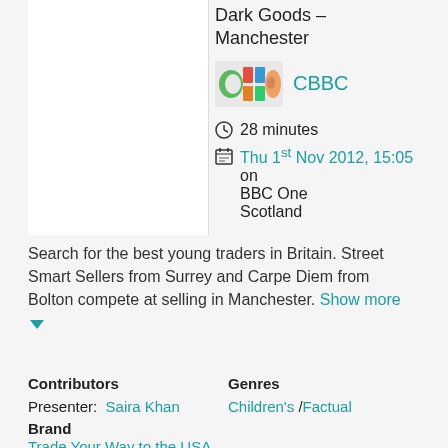Dark Goods - Manchester
[Figure (logo): CBBC logo thumbnail]
CBBC
28 minutes
Thu 1st Nov 2012, 15:05 on BBC One Scotland
Search for the best young traders in Britain. Street Smart Sellers from Surrey and Carpe Diem from Bolton compete at selling in Manchester. Show more
Contributors
Genres
Presenter: Saira Khan
Children's / Factual
Brand
Trade Your Way to the USA